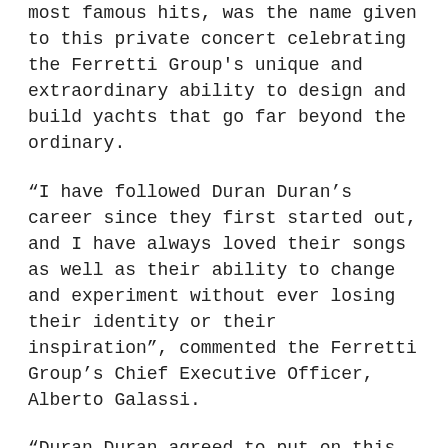most famous hits, was the name given to this private concert celebrating the Ferretti Group's unique and extraordinary ability to design and build yachts that go far beyond the ordinary.
“I have followed Duran Duran’s career since they first started out, and I have always loved their songs as well as their ability to change and experiment without ever losing their identity or their inspiration”, commented the Ferretti Group’s Chief Executive Officer, Alberto Galassi.
“Duran Duran agreed to put on this one-time, one-of-a-kind concert for our yacht Owners and for the members of the Yacht Club de Monaco. They are an extraordinary band, which, like our yachts, has style, personality, and that ability to innovate and experiment which always puts you a step above the rest, in music as in shipbuilding.